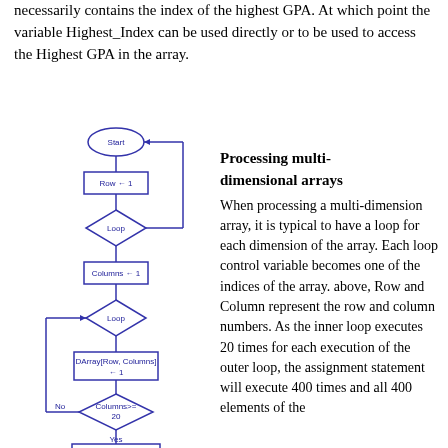necessarily contains the index of the highest GPA. At which point the variable Highest_Index can be used directly or to be used to access the Highest GPA in the array.
[Figure (flowchart): Flowchart showing multi-dimensional array processing with nested loops. Contains: Start oval, Row←1 rectangle, Loop diamond, Columns←1 rectangle, Loop diamond, DArray[Row, Columns]←1 rectangle, No/Columns>=20 diamond with Yes branch, Column←Column+1 rectangle at bottom.]
Processing multi-dimensional arrays
When processing a multi-dimension array, it is typical to have a loop for each dimension of the array. Each loop control variable becomes one of the indices of the array. above, Row and Column represent the row and column numbers. As the inner loop executes 20 times for each execution of the outer loop, the assignment statement will execute 400 times and all 400 elements of the